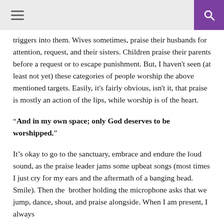triggers into them. Wives sometimes, praise their husbands for attention, request, and their sisters. Children praise their parents before a request or to escape punishment. But, I haven't seen (at least not yet) these categories of people worship the above mentioned targets. Easily, it's fairly obvious, isn't it, that praise is mostly an action of the lips, while worship is of the heart.
“And in my own space; only God deserves to be worshipped.”
It’s okay to go to the sanctuary, embrace and endure the loud sound, as the praise leader jams some upbeat songs (most times I just cry for my ears and the aftermath of a banging head. Smile). Then the  brother holding the microphone asks that we jump, dance, shout, and praise alongside. When I am present, I always